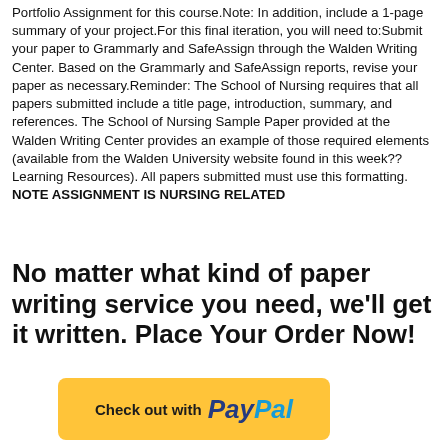Portfolio Assignment for this course.Note: In addition, include a 1-page summary of your project.For this final iteration, you will need to:Submit your paper to Grammarly and SafeAssign through the Walden Writing Center. Based on the Grammarly and SafeAssign reports, revise your paper as necessary.Reminder: The School of Nursing requires that all papers submitted include a title page, introduction, summary, and references. The School of Nursing Sample Paper provided at the Walden Writing Center provides an example of those required elements (available from the Walden University website found in this week?? Learning Resources). All papers submitted must use this formatting. NOTE ASSIGNMENT IS NURSING RELATED
No matter what kind of paper writing service you need, we'll get it written. Place Your Order Now!
[Figure (other): PayPal checkout button — yellow rounded rectangle with 'Check out with PayPal' text and PayPal logo]